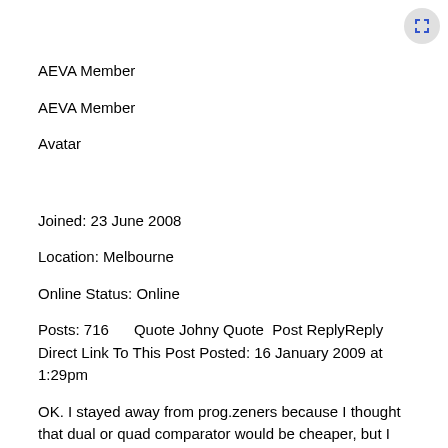AEVA Member
AEVA Member
Avatar
Joined: 23 June 2008
Location: Melbourne
Online Status: Online
Posts: 716      Quote Johny Quote  Post ReplyReply Direct Link To This Post Posted: 16 January 2009 at 1:29pm
OK. I stayed away from prog.zeners because I thought that dual or quad comparator would be cheaper, but I see they are $UA0.12 on